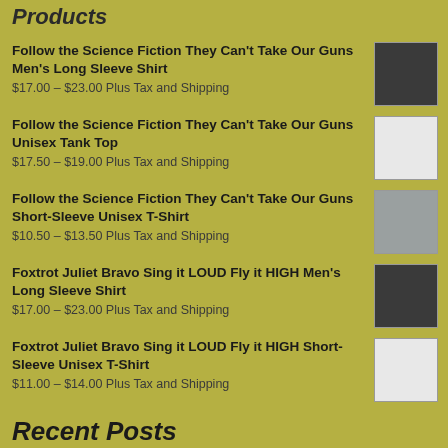Products
Follow the Science Fiction They Can't Take Our Guns Men's Long Sleeve Shirt
$17.00 – $23.00 Plus Tax and Shipping
Follow the Science Fiction They Can't Take Our Guns Unisex Tank Top
$17.50 – $19.00 Plus Tax and Shipping
Follow the Science Fiction They Can't Take Our Guns Short-Sleeve Unisex T-Shirt
$10.50 – $13.50 Plus Tax and Shipping
Foxtrot Juliet Bravo Sing it LOUD Fly it HIGH Men's Long Sleeve Shirt
$17.00 – $23.00 Plus Tax and Shipping
Foxtrot Juliet Bravo Sing it LOUD Fly it HIGH Short-Sleeve Unisex T-Shirt
$11.00 – $14.00 Plus Tax and Shipping
Recent Posts
Where was God in the Riots